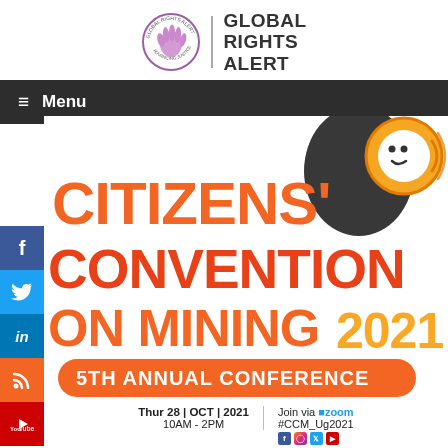[Figure (logo): Global Rights Alert logo: circular emblem with hand icon and text, next to bold 'GLOBAL RIGHTS ALERT' wordmark]
≡ Menu
[Figure (illustration): Citizens' Convention on Mining 2021 - 5th Annual Conference event banner with orange stylized text and megaphone graphic]
Thur 28 | OCT | 2021  10AM - 2PM
Join via zoom  #CCM_Ug2021